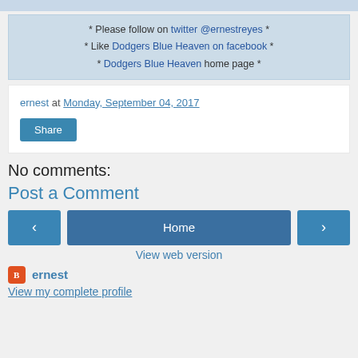* Please follow on twitter @ernestreyes * * Like Dodgers Blue Heaven on facebook * * Dodgers Blue Heaven home page *
ernest at Monday, September 04, 2017
Share
No comments:
Post a Comment
Home
View web version
ernest
View my complete profile